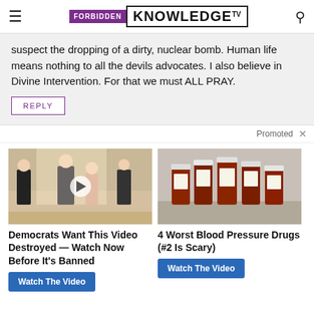FORBIDDEN KNOWLEDGE TV
suspect the dropping of a dirty, nuclear bomb. Human life means nothing to all the devils advocates. I also believe in Divine Intervention. For that we must ALL PRAY.
REPLY
Promoted ×
[Figure (photo): Left ad: photo of politicians walking in hallway with play button overlay]
Democrats Want This Video Destroyed — Watch Now Before It's Banned
Watch The Video
[Figure (photo): Right ad: photo of prescription medicine bottles lined up]
4 Worst Blood Pressure Drugs (#2 Is Scary)
Watch The Video